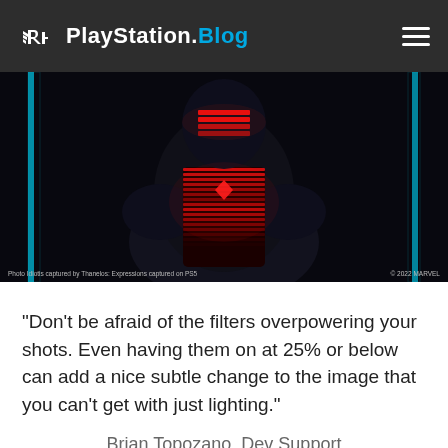PlayStation.Blog
[Figure (photo): A dark cyberpunk-styled character wearing a glowing red illuminated chest panel and glowing red visor/helmet, flanked by cyan vertical light strips on a dark background.]
“Don’t be afraid of the filters overpowering your shots. Even having them on at 25% or below can add a nice subtle change to the image that you can’t get with just lighting.”
Brian Topozano, Dev Support